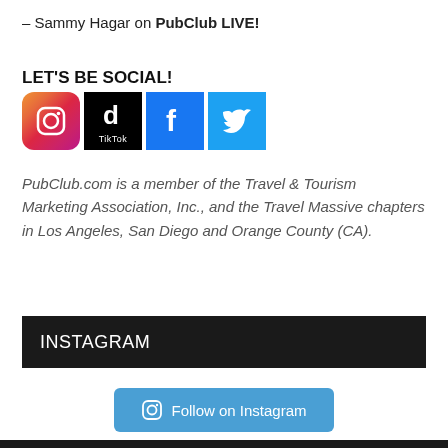– Sammy Hagar on PubClub LIVE!
LET'S BE SOCIAL!
[Figure (infographic): Four social media icons in a row: Instagram (gradient), TikTok (black), Facebook (blue), Twitter (blue)]
PubClub.com is a member of the Travel & Tourism Marketing Association, Inc., and the Travel Massive chapters in Los Angeles, San Diego and Orange County (CA).
INSTAGRAM
[Figure (infographic): Blue 'Follow on Instagram' button with Instagram camera icon]